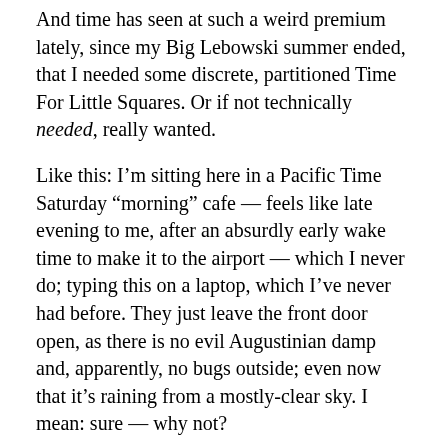And time has seen at such a weird premium lately, since my Big Lebowski summer ended, that I needed some discrete, partitioned Time For Little Squares. Or if not technically needed, really wanted.
Like this: I’m sitting here in a Pacific Time Saturday “morning” cafe — feels like late evening to me, after an absurdly early wake time to make it to the airport — which I never do; typing this on a laptop, which I’ve never had before. They just leave the front door open, as there is no evil Augustinian damp and, apparently, no bugs outside; even now that it’s raining from a mostly-clear sky. I mean: sure — why not?
I’ve already seen more #keepportlandweird in an hour than in a whole day in, say, Bloomington, Indiana; and more than in a lifetime in Fillmore. It’s delicious. Like: oh, sure — why wouldn’t you paint all that cool shit on your garage? Why not pink cowboy boots over thigh-